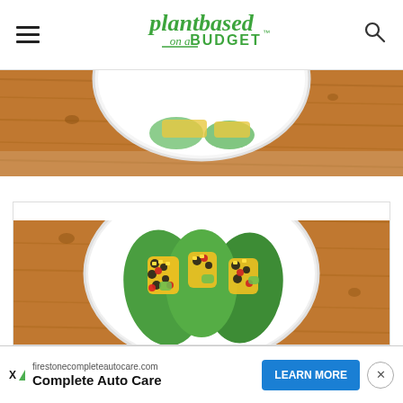Plant Based on a Budget - website header with hamburger menu and search icon
[Figure (photo): Top portion of a food photo showing a white plate on a wooden table surface, partially cropped]
[Figure (photo): Food photo showing lettuce wraps filled with corn, black beans, tomatoes and avocado on a white plate on a wooden table]
firestonecompleteautocare.com Complete Auto Care LEARN MORE